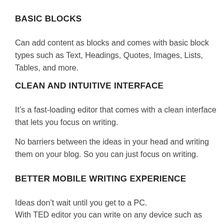BASIC BLOCKS
Can add content as blocks and comes with basic block types such as Text, Headings, Quotes, Images, Lists, Tables, and more.
CLEAN AND INTUITIVE INTERFACE
It’s a fast-loading editor that comes with a clean interface that lets you focus on writing.
No barriers between the ideas in your head and writing them on your blog. So you can just focus on writing.
BETTER MOBILE WRITING EXPERIENCE
Ideas don’t wait until you get to a PC.
With TED editor you can write on any device such as